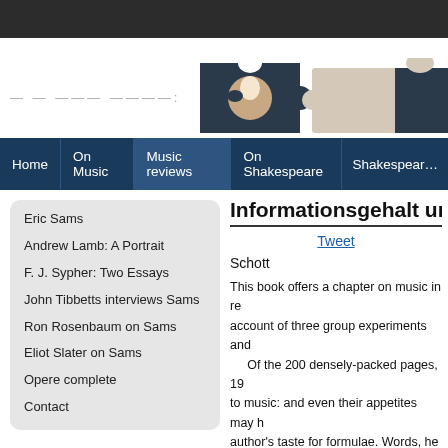[Figure (illustration): Website header with puzzle piece photo and decorative text logo]
Home | On Music | Music reviews | On Shakespeare | Shakespear…
Eric Sams
Andrew Lamb: A Portrait
F. J. Sypher: Two Essays
John Tibbetts interviews Sams
Ron Rosenbaum on Sams
Eliot Slater on Sams
Opere complete
Contact
Informationsgehalt un
Tweet
Schott
This book offers a chapter on music in re account of three group experiments and Of the 200 densely-packed pages, 19 to music: and even their appetites may h author's taste for formulae. Words, he ex about 100000 words. His own choice of